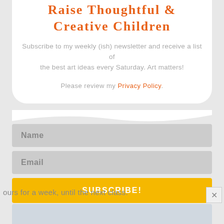Raise Thoughtful & Creative Children
Subscribe to my weekly (ish) newsletter and receive a list of the best art ideas every Saturday. Art matters!
Please review my Privacy Policy.
[Figure (screenshot): Newsletter subscription form with Name field, Email field, and SUBSCRIBE! button on a gray background]
ours for a week, until the next class.